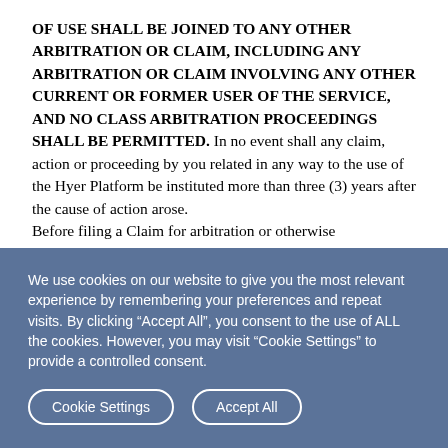OF USE SHALL BE JOINED TO ANY OTHER ARBITRATION OR CLAIM, INCLUDING ANY ARBITRATION OR CLAIM INVOLVING ANY OTHER CURRENT OR FORMER USER OF THE SERVICE, AND NO CLASS ARBITRATION PROCEEDINGS SHALL BE PERMITTED. In no event shall any claim, action or proceeding by you related in any way to the use of the Hyer Platform be instituted more than three (3) years after the cause of action arose. Before filing a Claim for arbitration or otherwise
We use cookies on our website to give you the most relevant experience by remembering your preferences and repeat visits. By clicking “Accept All”, you consent to the use of ALL the cookies. However, you may visit "Cookie Settings" to provide a controlled consent.
Cookie Settings
Accept All